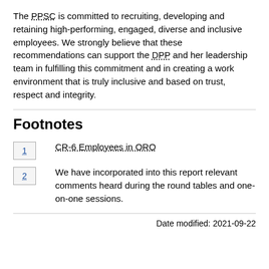The PPSC is committed to recruiting, developing and retaining high-performing, engaged, diverse and inclusive employees. We strongly believe that these recommendations can support the DPP and her leadership team in fulfilling this commitment and in creating a work environment that is truly inclusive and based on trust, respect and integrity.
Footnotes
1 CR-6 Employees in ORO
2 We have incorporated into this report relevant comments heard during the round tables and one-on-one sessions.
Date modified: 2021-09-22